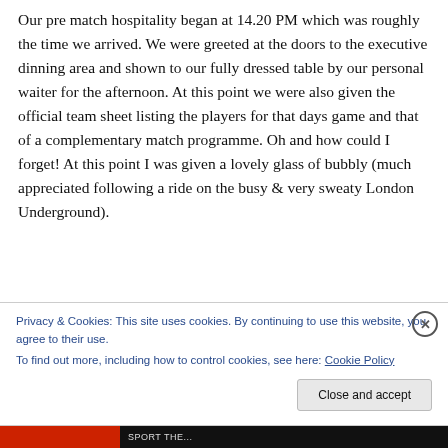Our pre match hospitality began at 14.20 PM which was roughly the time we arrived. We were greeted at the doors to the executive dinning area and shown to our fully dressed table by our personal waiter for the afternoon. At this point we were also given the official team sheet listing the players for that days game and that of a complementary match programme. Oh and how could I forget! At this point I was given a lovely glass of bubbly (much appreciated following a ride on the busy & very sweaty London Underground).
Privacy & Cookies: This site uses cookies. By continuing to use this website, you agree to their use.
To find out more, including how to control cookies, see here: Cookie Policy
Close and accept